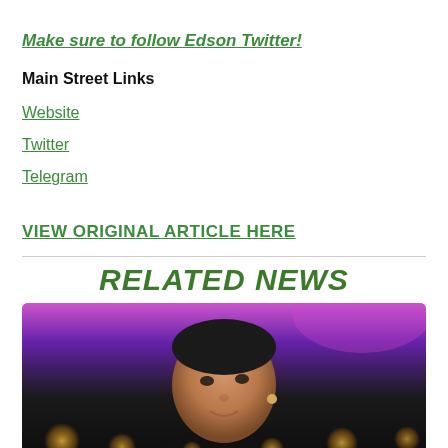Make sure to follow Edson Twitter!
Main Street Links
Website
Twitter
Telegram
VIEW ORIGINAL ARTICLE HERE
RELATED NEWS
[Figure (photo): Photo of a man speaking at an event, wearing a black shirt and ear microphone, with purple and dark bokeh lighting in the background]